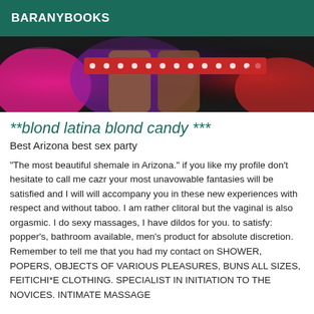BARANYBOOKS
[Figure (photo): Cropped photo showing colorful clothing and accessories on figures, including pink, purple fabric and a red studded belt/waistband, dark background]
**blond latina blond candy ***
Best Arizona best sex party
"The most beautiful shemale in Arizona." if you like my profile don't hesitate to call me cazr your most unavowable fantasies will be satisfied and I will will accompany you in these new experiences with respect and without taboo. I am rather clitoral but the vaginal is also orgasmic. I do sexy massages, I have dildos for you. to satisfy: popper's, bathroom available, men's product for absolute discretion. Remember to tell me that you had my contact on SHOWER, POPERS, OBJECTS OF VARIOUS PLEASURES, BUNS ALL SIZES, FEITICHI*E CLOTHING. SPECIALIST IN INITIATION TO THE NOVICES. INTIMATE MASSAGE